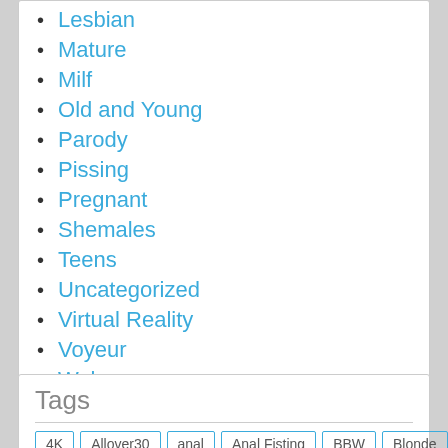Lesbian
Mature
Milf
Old and Young
Parody
Pissing
Pregnant
Shemales
Teens
Uncategorized
Virtual Reality
Voyeur
Webcams
Tags
4K | Allover30 | anal | Anal Fisting | BBW | Blonde